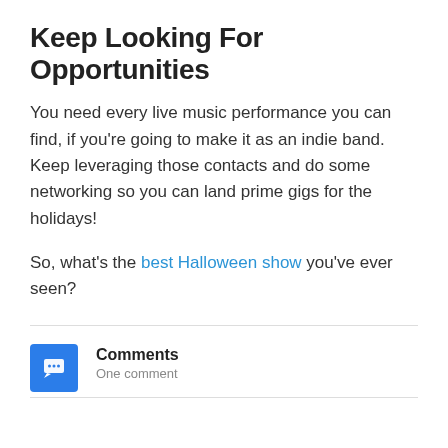Keep Looking For Opportunities
You need every live music performance you can find, if you're going to make it as an indie band. Keep leveraging those contacts and do some networking so you can land prime gigs for the holidays!
So, what's the best Halloween show you've ever seen?
Comments
One comment